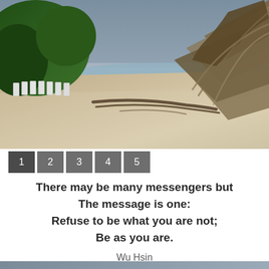[Figure (photo): Beach scene with white sand, overcast sky, ocean in background, green vegetation on left with white lounge chairs, dry palm fronds on upper right]
1  2  3  4  5
There may be many messengers but
The message is one:
Refuse to be what you are not;
Be as you are.
Wu Hsin